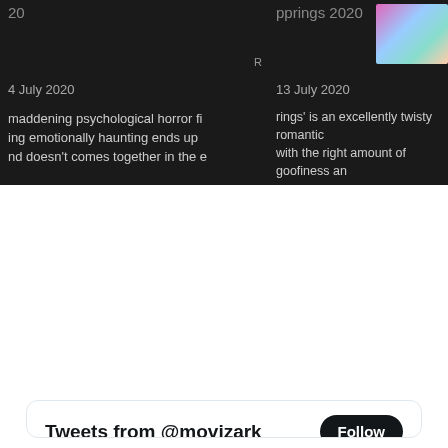[Figure (screenshot): Dark-themed movie review card (left): year '20', date '4 July 2020', partial text about maddening psychological horror film. Label 'R' visible.]
[Figure (screenshot): Dark-themed movie review card (right): title 'pprings 2020', date '13 July 2020', partial text about 'rings' being excellently twisty romantic with goofiness, one of most entertaining films.]
[Figure (screenshot): Twitter widget showing Tweets from @movizark with a Follow button. Tweet by Mirza Baig @movizark 13h ago: 'Liger' is a shoddily written and ineptly executed commercial cinema that is unbearable on all fronts. #AnanyaPandey, #Liger, #MikeTyson, #RamyaKrishna, #RonitRoy, #VijayDevarakonda movizark.com/2022/08/29/lig… with a movie poster thumbnail for Liger/GER.]